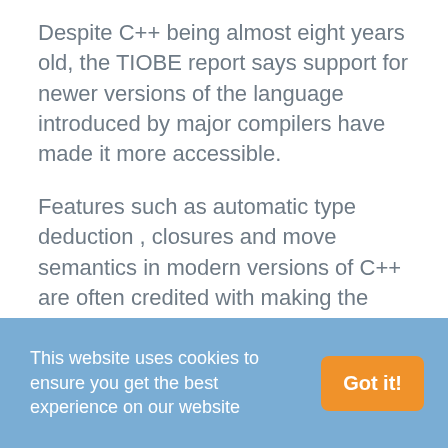Despite C++ being almost eight years old, the TIOBE report says support for newer versions of the language introduced by major compilers have made it more accessible.
Features such as automatic type deduction , closures and move semantics in modern versions of C++ are often credited with making the language more user-friendly.
Read the full index below.
This website uses cookies to ensure you get the best experience on our website